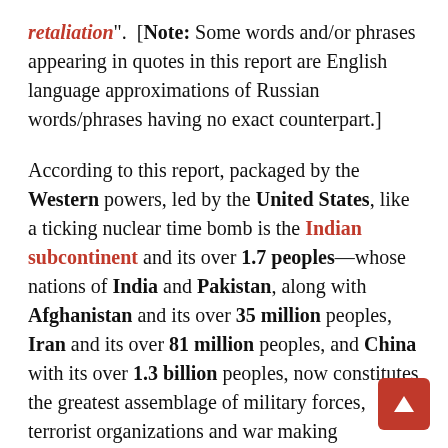retaliation". [Note: Some words and/or phrases appearing in quotes in this report are English language approximations of Russian words/phrases having no exact counterpart.] According to this report, packaged by the Western powers, led by the United States, like a ticking nuclear time bomb is the Indian subcontinent and its over 1.7 peoples—whose nations of India and Pakistan, along with Afghanistan and its over 35 million peoples, Iran and its over 81 million peoples, and China with its over 1.3 billion peoples, now constitutes the greatest assemblage of military forces, terrorist organizations and war making capability,